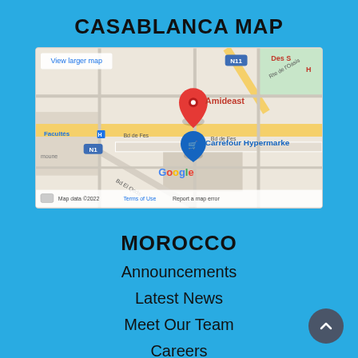CASABLANCA MAP
[Figure (map): Google Map showing Amideast location in Casablanca, Morocco, with Carrefour Hypermarket marked nearby. Map data ©2022. View larger map link visible. Roads include N11, N1, Bd de Fes, Bd El Qods, Rte de l'Oasis.]
MOROCCO
Announcements
Latest News
Meet Our Team
Careers
Contact Us